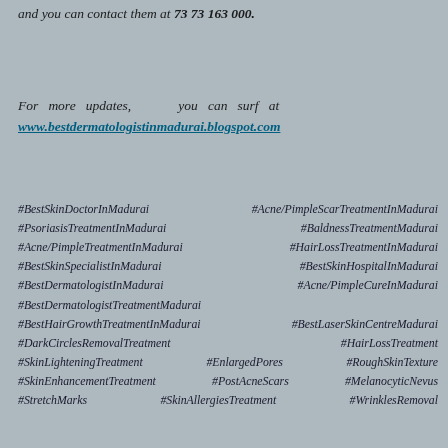and you can contact them at 73 73 163 000.
For more updates, you can surf at www.bestdermatologistinmadurai.blogspot.com
#BestSkinDoctorInMadurai  #Acne/PimpleScarTreatmentInMadurai
#PsoriasisTreatmentInMadurai  #BaldnessTreatmentMadurai
#Acne/PimpleTreatmentInMadurai  #HairLossTreatmentInMadurai
#BestSkinSpecialistInMadurai  #BestSkinHospitalInMadurai
#BestDermatologistInMadurai  #Acne/PimpleCureInMadurai
#BestDermatologistTreatmentMadurai
#BestHairGrowthTreatmentInMadurai  #BestLaserSkinCentreMadurai
#DarkCirclesRemovalTreatment  #HairLossTreatment
#SkinLighteningTreatment  #EnlargedPores  #RoughSkinTexture
#SkinEnhancementTreatment  #PostAcneScars  #MelanocyticNevus
#StretchMarks  #SkinAllergiesTreatment  #WrinklesRemoval